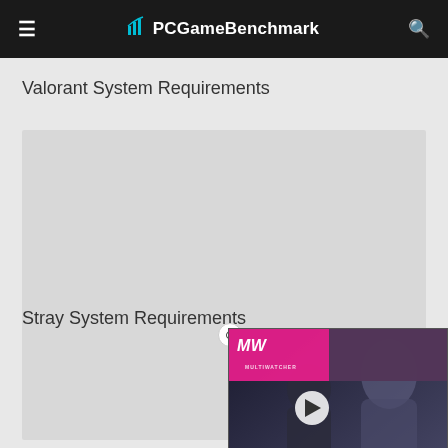PCGameBenchmark
Valorant System Requirements
[Figure (other): Advertisement/sponsored content placeholder block]
Stray System Requirements
[Figure (other): Advertisement/sponsored content placeholder block]
[Figure (screenshot): Video overlay showing BEST ZOMBIE GAMES thumbnail with MW logo, play button, and a female character from a game]